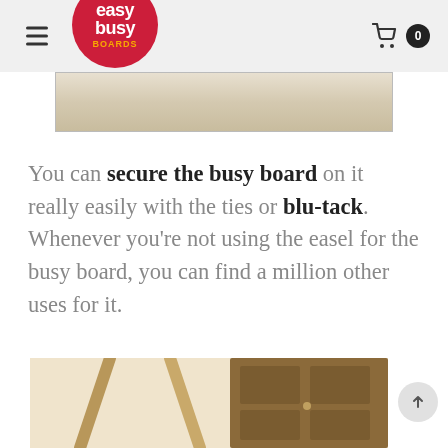easy busy BOARDS
[Figure (photo): Partial view of a wooden board/easel, light beige wood texture, shown as a horizontal strip]
You can secure the busy board on it really easily with the ties or blu-tack. Whenever you're not using the easel for the busy board, you can find a million other uses for it.
[Figure (photo): Bottom portion of page showing an easel and a door with a busy board mounted on it]